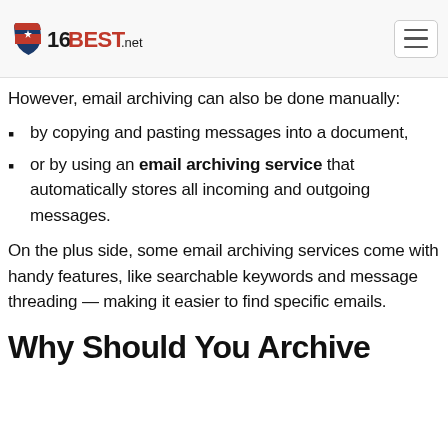16BEST.net
However, email archiving can also be done manually:
by copying and pasting messages into a document,
or by using an email archiving service that automatically stores all incoming and outgoing messages.
On the plus side, some email archiving services come with handy features, like searchable keywords and message threading — making it easier to find specific emails.
Why Should You Archive